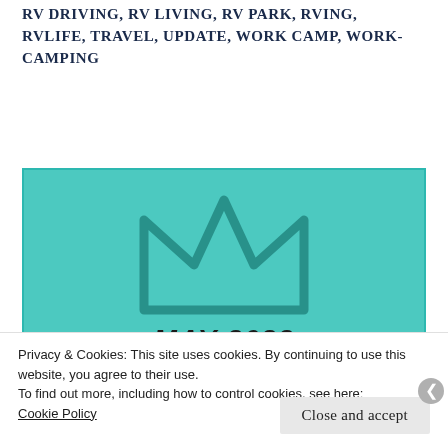RV DRIVING, RV LIVING, RV PARK, RVING, RVLIFE, TRAVEL, UPDATE, WORK CAMP, WORK-CAMPING
[Figure (photo): Teal/turquoise textured background with a dark teal crown/diamond shape outline and bold italic text reading 'MAY 2022' at the bottom]
Privacy & Cookies: This site uses cookies. By continuing to use this website, you agree to their use.
To find out more, including how to control cookies, see here: Cookie Policy
Close and accept